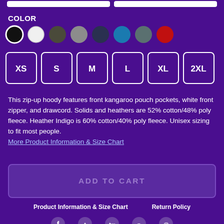COLOR
[Figure (illustration): Color swatches: black (selected with white ring), white, dark olive, gray, navy, blue, slate, red]
[Figure (illustration): Size selector buttons: XS, S, M, L, XL, 2XL — all with white border outline on purple background]
This zip-up hoody features front kangaroo pouch pockets, white front zipper, and drawcord. Solids and heathers are 52% cotton/48% poly fleece. Heather Indigo is 60% cotton/40% poly fleece. Unisex sizing to fit most people.
More Product Information & Size Chart
ADD TO CART
Product Information & Size Chart    Return Policy